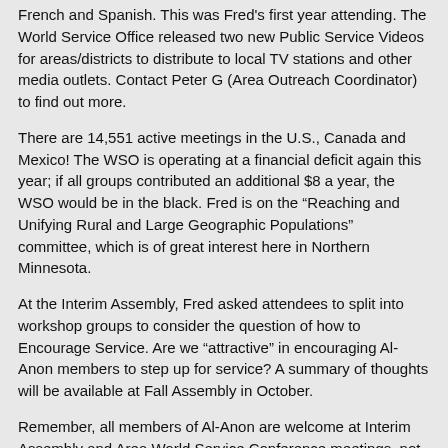French and Spanish. This was Fred's first year attending. The World Service Office released two new Public Service Videos for areas/districts to distribute to local TV stations and other media outlets. Contact Peter G (Area Outreach Coordinator) to find out more.
There are 14,551 active meetings in the U.S., Canada and Mexico! The WSO is operating at a financial deficit again this year; if all groups contributed an additional $8 a year, the WSO would be in the black. Fred is on the “Reaching and Unifying Rural and Large Geographic Populations” committee, which is of great interest here in Northern Minnesota.
At the Interim Assembly, Fred asked attendees to split into workshop groups to consider the question of how to Encourage Service. Are we “attractive” in encouraging Al-Anon members to step up for service? A summary of thoughts will be available at Fall Assembly in October.
Remember, all members of Al-Anon are welcome at Interim Assembly and Area World Service Conference meetings, not just those formally involved in service positions. Carpool!
World Service Office Highlights
A newly revised Fact Sheet for Professionals is now available from Al-Anon.org, the World Service Office website. Take a look, share